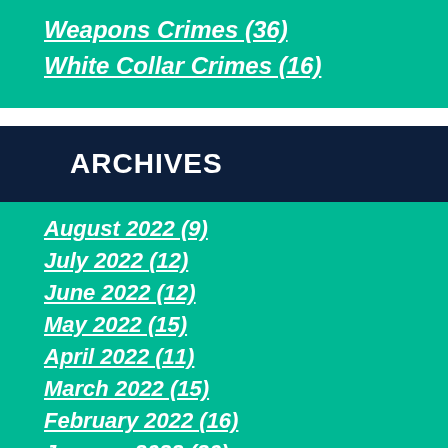Weapons Crimes (36)
White Collar Crimes (16)
ARCHIVES
August 2022 (9)
July 2022 (12)
June 2022 (12)
May 2022 (15)
April 2022 (11)
March 2022 (15)
February 2022 (16)
January 2022 (20)
December 2021 (16)
November 2021 (21)